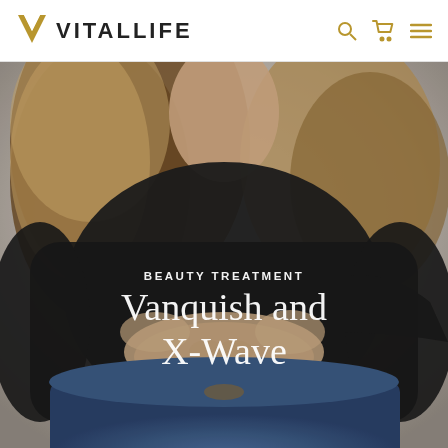VITALLIFE
[Figure (photo): Hero image of a woman in a black long-sleeve crop top showing her midriff, wearing jeans, with long wavy hair, against a light grey background. Overlaid text reads BEAUTY TREATMENT and Vanquish and X-Wave.]
BEAUTY TREATMENT
Vanquish and X-Wave